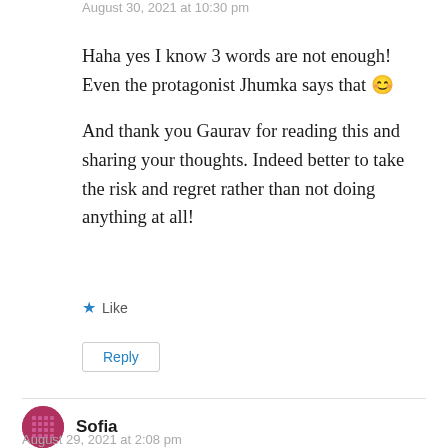August 30, 2021 at 10:30 pm
Haha yes I know 3 words are not enough! Even the protagonist Jhumka says that 😊

And thank you Gaurav for reading this and sharing your thoughts. Indeed better to take the risk and regret rather than not doing anything at all!
Like
Reply
Sofia
August 29, 2021 at 2:08 pm